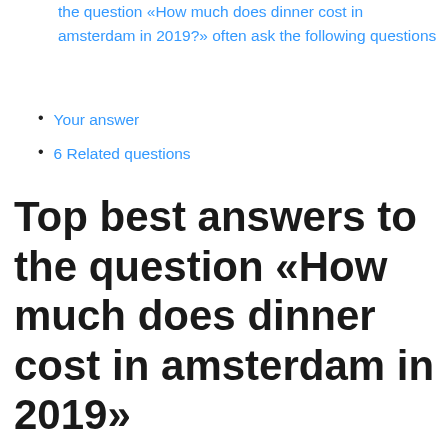the question «How much does dinner cost in amsterdam in 2019?» often ask the following questions
Your answer
6 Related questions
Top best answers to the question «How much does dinner cost in amsterdam in 2019»